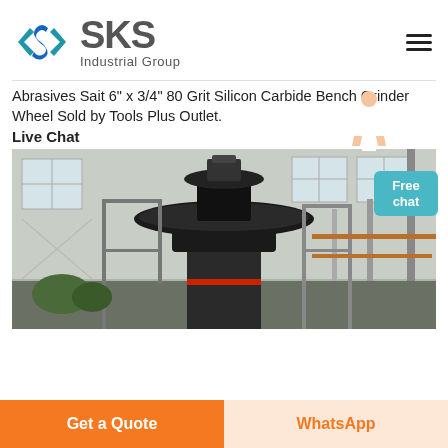[Figure (logo): SKS Industrial Group logo with blue angular S icon and gray SKS text]
Abrasives Sait 6" x 3/4" 80 Grit Silicon Carbide Bench Grinder Wheel Sold by Tools Plus Outlet.
Live Chat
[Figure (photo): Industrial machine (large vertical grinder/crusher) inside a factory building with metal scaffolding and large windows]
Get a Quote
WhatsApp